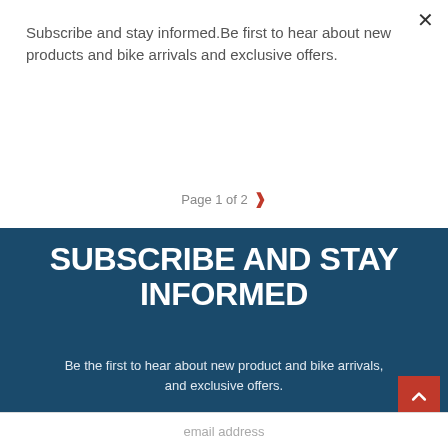Subscribe and stay informed.Be first to hear about new products and bike arrivals and exclusive offers.
BE FIRST
Page 1 of 2
SUBSCRIBE AND STAY INFORMED
Be the first to hear about new product and bike arrivals, and exclusive offers.
email address